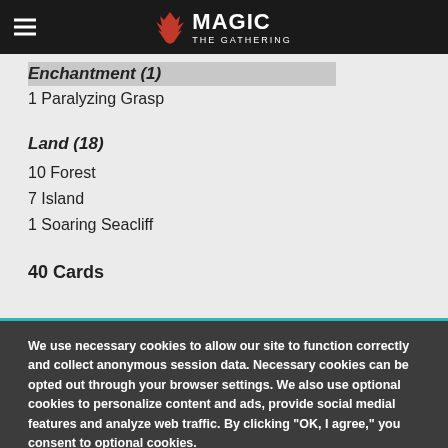MAGIC THE GATHERING
Enchantment (1)
1 Paralyzing Grasp
Land (18)
10 Forest
7 Island
1 Soaring Seacliff
40 Cards
We use necessary cookies to allow our site to function correctly and collect anonymous session data. Necessary cookies can be opted out through your browser settings. We also use optional cookies to personalize content and ads, provide social medial features and analyze web traffic. By clicking “OK, I agree,” you consent to optional cookies. (Learn more about cookies.)
OK, I agree   No, thanks